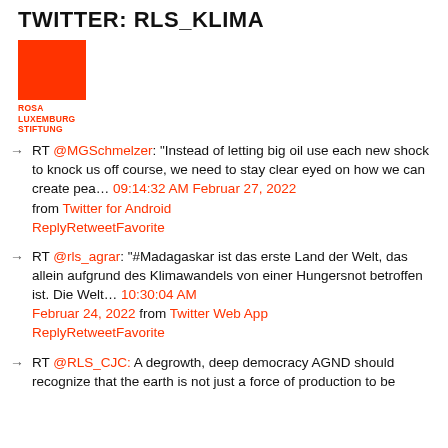TWITTER: RLS_KLIMA
[Figure (logo): Rosa Luxemburg Stiftung logo: orange/red rectangle with text ROSA LUXEMBURG STIFTUNG below]
RT @MGSchmelzer: "Instead of letting big oil use each new shock to knock us off course, we need to stay clear eyed on how we can create pea… 09:14:32 AM Februar 27, 2022 from Twitter for Android ReplyRetweetFavorite
RT @rls_agrar: "#Madagaskar ist das erste Land der Welt, das allein aufgrund des Klimawandels von einer Hungersnot betroffen ist. Die Welt… 10:30:04 AM Februar 24, 2022 from Twitter Web App ReplyRetweetFavorite
RT @RLS_CJC: A degrowth, deep democracy AGND should recognize that the earth is not just a force of production to be…